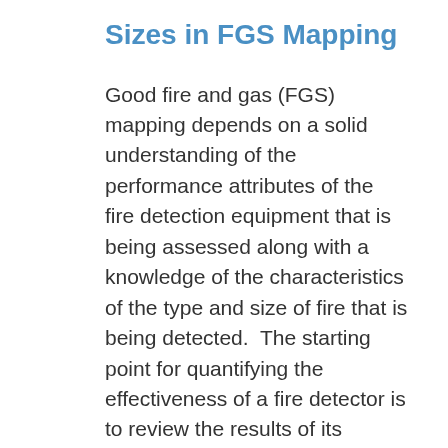Sizes in FGS Mapping
Good fire and gas (FGS) mapping depends on a solid understanding of the performance attributes of the fire detection equipment that is being assessed along with a knowledge of the characteristics of the type and size of fire that is being detected.  The starting point for quantifying the effectiveness of a fire detector is to review the results of its FM3260 performance test.  This test will provide a graphical “map” of the area